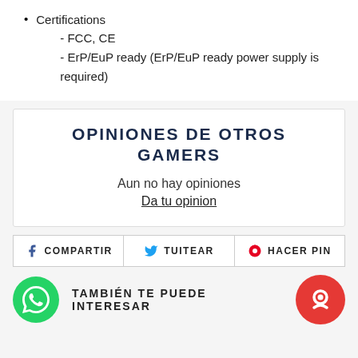Certifications
- FCC, CE
- ErP/EuP ready (ErP/EuP ready power supply is required)
OPINIONES DE OTROS GAMERS
Aun no hay opiniones
Da tu opinion
COMPARTIR  TUITEAR  HACER PIN
TAMBIÉN TE PUEDE INTERESAR